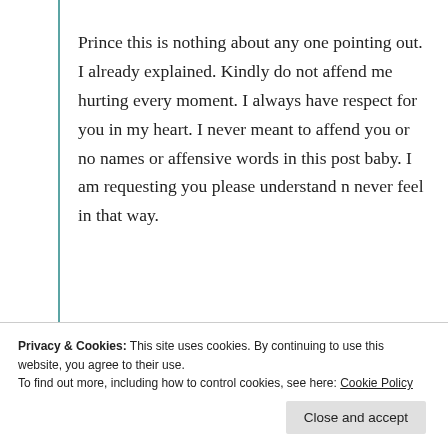Prince this is nothing about any one pointing out. I already explained. Kindly do not affend me hurting every moment. I always have respect for you in my heart. I never meant to affend you or no names or affensive words in this post baby. I am requesting you please understand n never feel in that way.
★ Like
Log in to Reply
Privacy & Cookies: This site uses cookies. By continuing to use this website, you agree to their use.
To find out more, including how to control cookies, see here: Cookie Policy